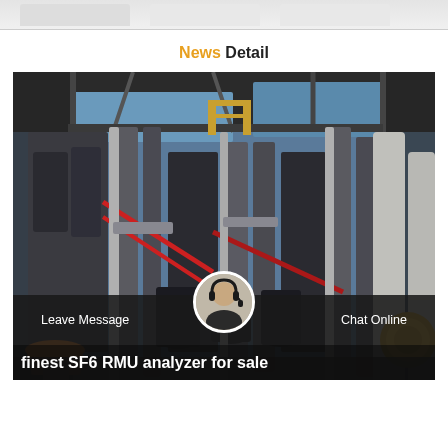News Detail
[Figure (photo): Industrial facility with large transformers, pipes, and machinery. A worker in an orange hard hat is visible at bottom left. The photo shows heavy electrical or industrial equipment under a metal roof structure against a blue sky.]
Leave Message
Chat Online
finest SF6 RMU analyzer for sale